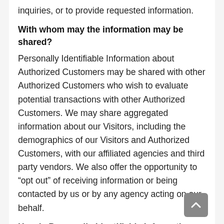inquiries, or to provide requested information.
With whom may the information may be shared?
Personally Identifiable Information about Authorized Customers may be shared with other Authorized Customers who wish to evaluate potential transactions with other Authorized Customers. We may share aggregated information about our Visitors, including the demographics of our Visitors and Authorized Customers, with our affiliated agencies and third party vendors. We also offer the opportunity to “opt out” of receiving information or being contacted by us or by any agency acting on our behalf.
How is Personally Identifiable Information stored?
Personally Identifiable Information collected by Hotyogaforlife.com  is securely stored and is not